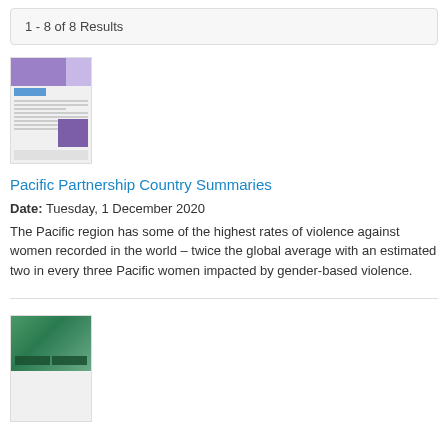1 - 8 of 8 Results
[Figure (screenshot): Thumbnail of Pacific Partnership Country Summaries document with purple header and text columns]
Pacific Partnership Country Summaries
Date: Tuesday, 1 December 2020
The Pacific region has some of the highest rates of violence against women recorded in the world – twice the global average with an estimated two in every three Pacific women impacted by gender-based violence.
[Figure (screenshot): Thumbnail of a second document with green/teal header showing people]